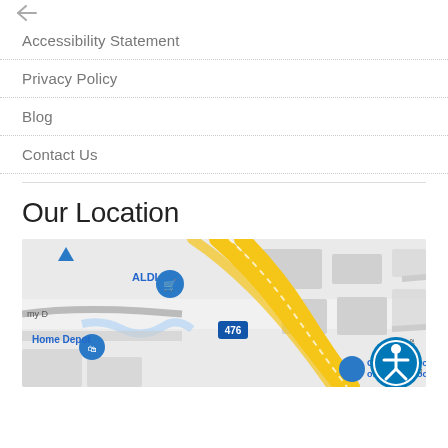Accessibility Statement
Privacy Policy
Blog
Contact Us
Our Location
[Figure (map): Google map showing location near ALDI, Home Depot, Conicelli Toyota of Conshohocken, with highway 476 visible and yellow highway roads.]